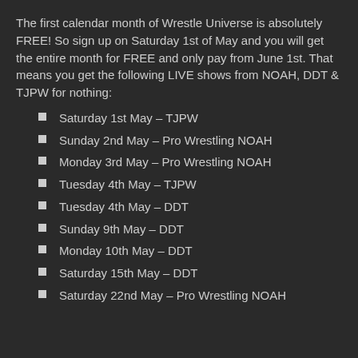The first calendar month of Wrestle Universe is absolutely FREE! So sign up on Saturday 1st of May and you will get the entire month for FREE and only pay from June 1st. That means you get the following LIVE shows from NOAH, DDT & TJPW for nothing:
Saturday 1st May – TJPW
Sunday 2nd May – Pro Wrestling NOAH
Monday 3rd May – Pro Wrestling NOAH
Tuesday 4th May – TJPW
Tuesday 4th May – DDT
Sunday 9th May – DDT
Monday 10th May – DDT
Saturday 15th May – DDT
Saturday 22nd May – Pro Wrestling NOAH